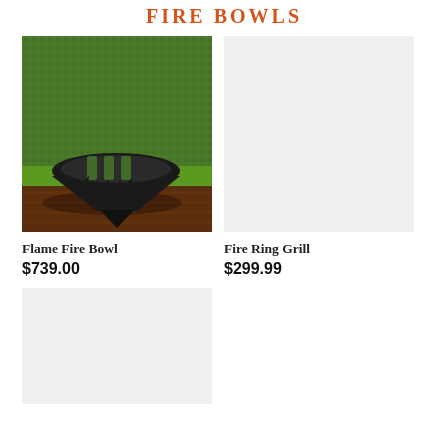FIRE BOWLS
[Figure (photo): Photo of a black metal Flame Fire Bowl with flame cutout patterns, set against a green hedge background on a wooden deck]
Flame Fire Bowl
$739.00
[Figure (photo): Placeholder gray image for Fire Ring Grill product]
Fire Ring Grill
$299.99
[Figure (photo): Placeholder gray image for a third product, partially visible at bottom of page]